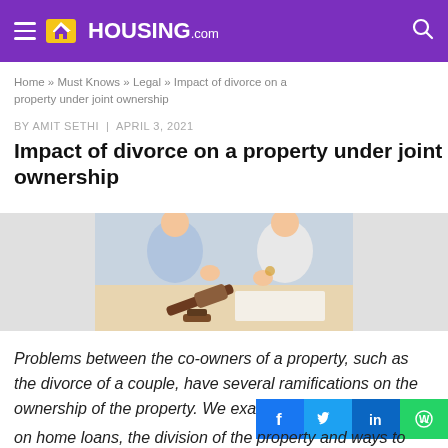HOUSING.com
Home » Must Knows » Legal » Impact of divorce on a property under joint ownership
BY AMIT SETHI | APRIL 3, 2021
Impact of divorce on a property under joint ownership
[Figure (photo): Two people at a table with a judge's gavel, appearing to discuss a legal matter]
Problems between the co-owners of a property, such as the divorce of a couple, have several ramifications on the ownership of the property. We examine the effect on home loans, the division of the property and ways to